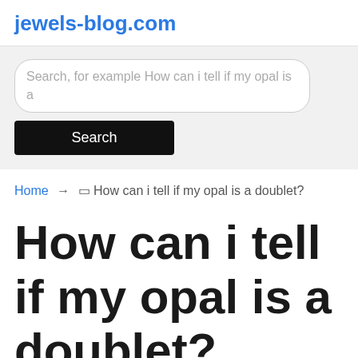jewels-blog.com
Search, for example How can i tell if my opal is a
Search
Home → ⬜ How can i tell if my opal is a doublet?
How can i tell if my opal is a doublet?